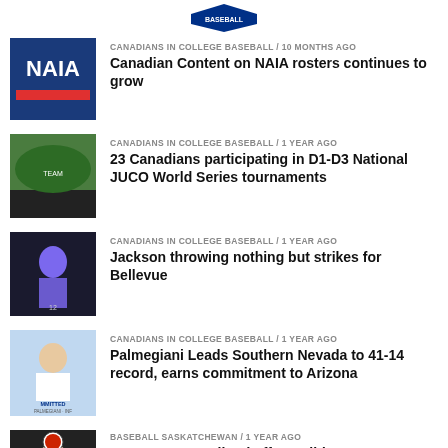[Figure (logo): Baseball Canada logo at top]
[Figure (photo): NAIA logo image]
CANADIANS IN COLLEGE BASEBALL / 10 months ago
Canadian Content on NAIA rosters continues to grow
[Figure (photo): Team photo of baseball players on field]
CANADIANS IN COLLEGE BASEBALL / 1 year ago
23 Canadians participating in D1-D3 National JUCO World Series tournaments
[Figure (photo): Baseball pitcher in purple uniform]
CANADIANS IN COLLEGE BASEBALL / 1 year ago
Jackson throwing nothing but strikes for Bellevue
[Figure (photo): Baseball player committed to Arizona]
CANADIANS IN COLLEGE BASEBALL / 1 year ago
Palmegiani Leads Southern Nevada to 41-14 record, earns commitment to Arizona
[Figure (photo): Baseball player with cap]
BASEBALL SASKATCHEWAN / 1 year ago
Moose Jaw's Helland off to solid start at